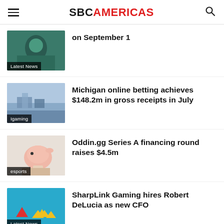SBC AMERICAS
on September 1
Latest News
Michigan online betting achieves $148.2m in gross receipts in July
Igaming
Oddin.gg Series A financing round raises $4.5m
esports
SharpLink Gaming hires Robert DeLucia as new CFO
Latest News
NorthStar Gaming launches NorthStar Bets app in Ontario